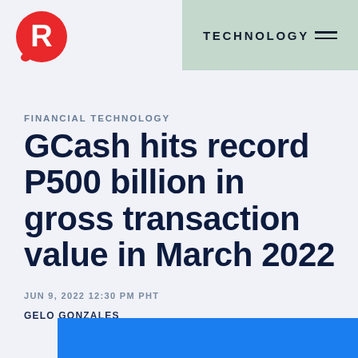[Figure (logo): Rappler logo: red circle with white R letter]
TECHNOLOGY
FINANCIAL TECHNOLOGY
GCash hits record P500 billion in gross transaction value in March 2022
JUN 9, 2022 12:30 PM PHT
GELO GONZALES
[Figure (photo): Blue image bar at bottom of page]